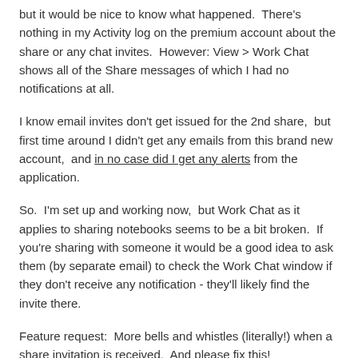but it would be nice to know what happened.  There's nothing in my Activity log on the premium account about the share or any chat invites.  However: View > Work Chat shows all of the Share messages of which I had no notifications at all.
I know email invites don't get issued for the 2nd share,  but first time around I didn't get any emails from this brand new account,  and in no case did I get any alerts from the application.
So.  I'm set up and working now,  but Work Chat as it applies to sharing notebooks seems to be a bit broken.  If you're sharing with someone it would be a good idea to ask them (by separate email) to check the Work Chat window if they don't receive any notification - they'll likely find the invite there.
Feature request:  More bells and whistles (literally!) when a share invitation is received.  And please fix this!